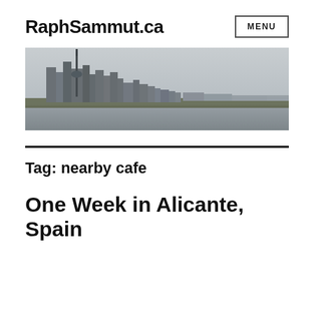RaphSammut.ca
MENU
[Figure (photo): Panoramic city skyline photo showing the CN Tower and downtown Toronto buildings against an overcast sky, with water in the foreground.]
Tag: nearby cafe
One Week in Alicante, Spain